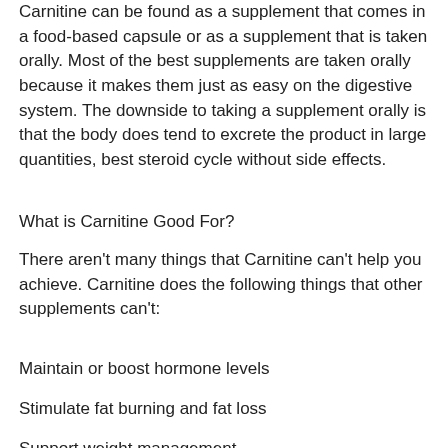Carnitine can be found as a supplement that comes in a food-based capsule or as a supplement that is taken orally. Most of the best supplements are taken orally because it makes them just as easy on the digestive system. The downside to taking a supplement orally is that the body does tend to excrete the product in large quantities, best steroid cycle without side effects.
What is Carnitine Good For?
There aren't many things that Carnitine can't help you achieve. Carnitine does the following things that other supplements can't:
Maintain or boost hormone levels
Stimulate fat burning and fat loss
Support weight management